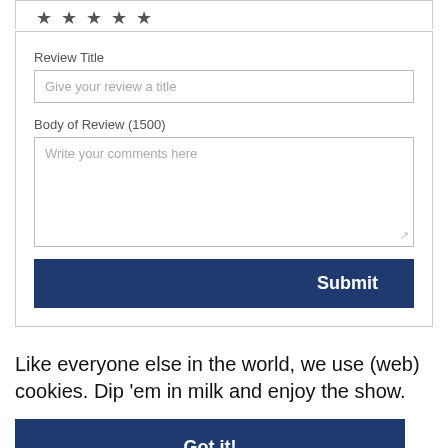[Figure (screenshot): Star rating icons (partially visible at top)]
Review Title
[Figure (screenshot): Text input field with placeholder 'Give your review a title']
Body of Review (1500)
[Figure (screenshot): Textarea with placeholder 'Write your comments here']
[Figure (screenshot): Submit button]
Like everyone else in the world, we use (web) cookies. Dip 'em in milk and enjoy the show.
[Figure (screenshot): Got it! button]
[Figure (photo): Partially visible photo strip at bottom]